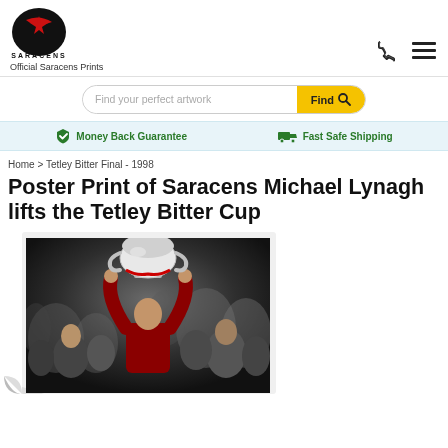[Figure (logo): Saracens rugby club logo with red star on black oval, text SARACENS below]
Official Saracens Prints
Find your perfect artwork
Find
Money Back Guarantee   Fast Safe Shipping
Home > Tetley Bitter Final - 1998
Poster Print of Saracens Michael Lynagh lifts the Tetley Bitter Cup
[Figure (photo): A person lifting a large silver trophy (Tetley Bitter Cup) above their head, crowd visible in background, photo shown as a poster print with curled corner effect]